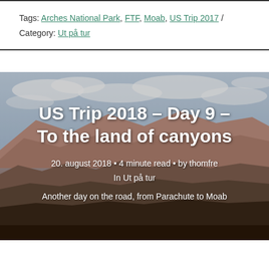Tags: Arches National Park, FTF, Moab, US Trip 2017 / Category: Ut på tur
[Figure (photo): Aerial/landscape photo of canyon terrain in Utah, showing layered red rock formations, desert mesas, and a cloudy sky. The image serves as a hero background for a blog post titled 'US Trip 2018 – Day 9 – To the land of canyons'.]
US Trip 2018 – Day 9 – To the land of canyons
20. august 2018 • 4 minute read • by thomfre
In Ut på tur
Another day on the road, from Parachute to Moab